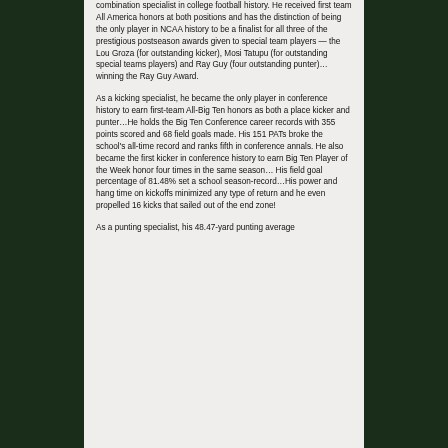combination specialist in college football history. He received first team All America honors at both positions and has the distinction of being the only player in NCAA history to be a finalist for all three of the prestigious postseason awards given to special team players — the Lou Groza (for outstanding kicker), Mosi Tatupu (for outstanding special teams players) and Ray Guy (four outstanding punter)…winning the Ray Guy Award.
As a kicking specialist, he became the only player in conference history to earn first-team All-Big Ten honors as both a place kicker and punter…He holds the Big Ten Conference career records with 355 points scored and 68 field goals made. His 151 PATs broke the school's all-time record and ranks fifth in conference annals. He also became the first kicker in conference history to earn Big Ten Player of the Week honor four times in the same season… His field goal percentage of 81.48% set a school season-record…His power and hang time on kickoffs minimized any type of return and he even propelled 16 kicks that sailed out of the end zone!
As a punting specialist, his 48.47-yard punting average